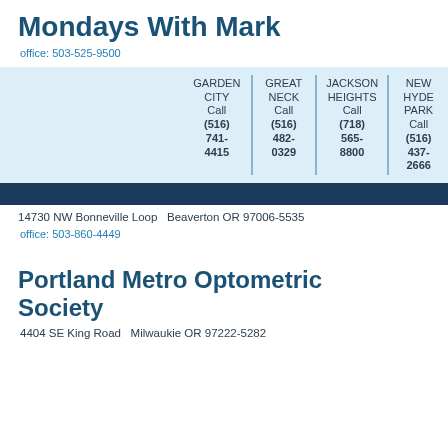Mondays With Mark
office: 503-525-9500
| GARDEN CITY | GREAT NECK | JACKSON HEIGHTS | NEW HYDE PARK |
| --- | --- | --- | --- |
| Call (516) 741-4415 | Call (516) 482-0329 | Call (718) 565-8800 | Call (516) 437-2666 |
14730 NW Bonneville Loop   Beaverton OR 97006-5535
office: 503-860-4449
Portland Metro Optometric Society
4404 SE King Road   Milwaukie OR 97222-5282